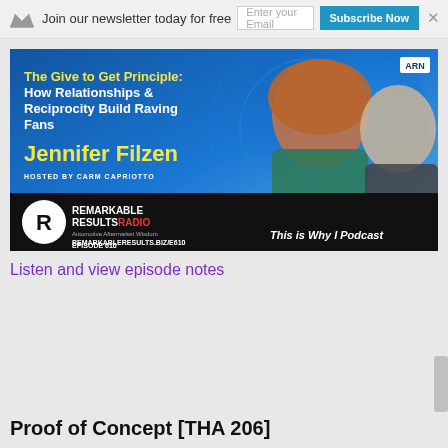Join our newsletter today for free
[Figure (illustration): Podcast episode banner for Remarkable Results Radio Episode 610 featuring Jennifer Filzen. Title: 'The Give to Get Principle: How Relationships & Reciprocity Build Raving Fans'. Hosted by Carm Capriotto. URL: remarkableresults.biz/e610. Blue gradient background with photos of two people.]
Listen and view episode notes
Proof of Concept [THA 206]